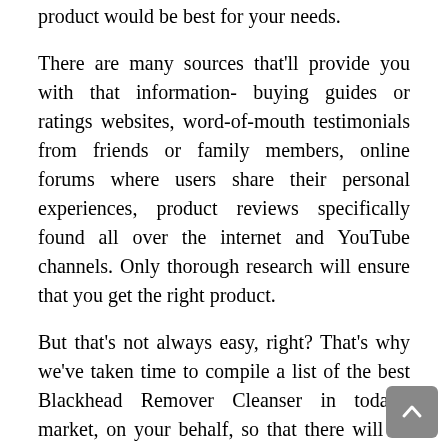before you make any decisions on which product would be best for your needs.
There are many sources that'll provide you with that information- buying guides or ratings websites, word-of-mouth testimonials from friends or family members, online forums where users share their personal experiences, product reviews specifically found all over the internet and YouTube channels. Only thorough research will ensure that you get the right product.
But that's not always easy, right? That's why we've taken time to compile a list of the best Blackhead Remover Cleanser in today's market, on your behalf, so that there will be no more worries for you.